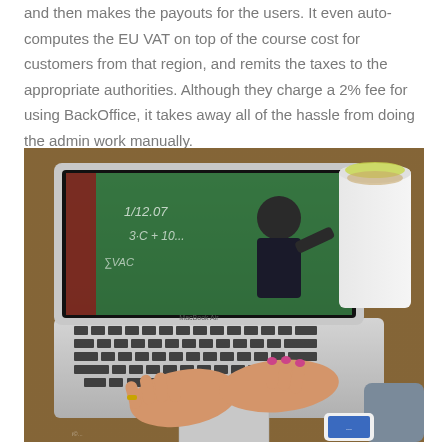and then makes the payouts for the users. It even auto-computes the EU VAT on top of the course cost for customers from that region, and remits the taxes to the appropriate authorities. Although they charge a 2% fee for using BackOffice, it takes away all of the hassle from doing the admin work manually.
[Figure (photo): A person using a MacBook Air laptop showing a video of a teacher writing on a chalkboard, with a coffee cup and smartphone visible on a wooden desk]